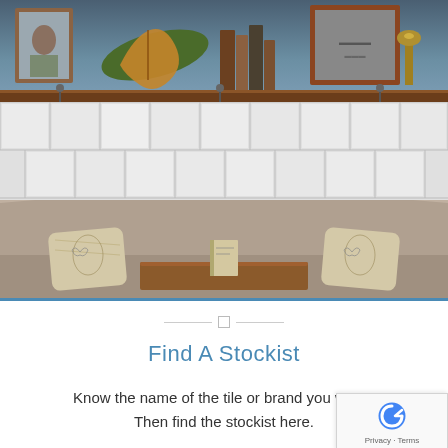[Figure (photo): Interior café/restaurant scene showing a shelf with a violin, books, framed pictures and antiques above white subway tiles, with a curved grey upholstered booth/banquette seating area, decorative pillows, and a wooden table in the foreground.]
Find A Stockist
Know the name of the tile or brand you want? Then find the stockist here.